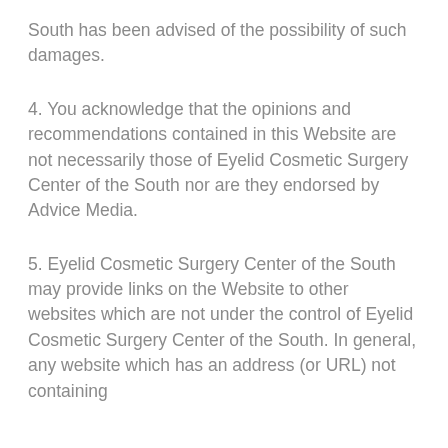South has been advised of the possibility of such damages.
4. You acknowledge that the opinions and recommendations contained in this Website are not necessarily those of Eyelid Cosmetic Surgery Center of the South nor are they endorsed by Advice Media.
5. Eyelid Cosmetic Surgery Center of the South may provide links on the Website to other websites which are not under the control of Eyelid Cosmetic Surgery Center of the South. In general, any website which has an address (or URL) not containing